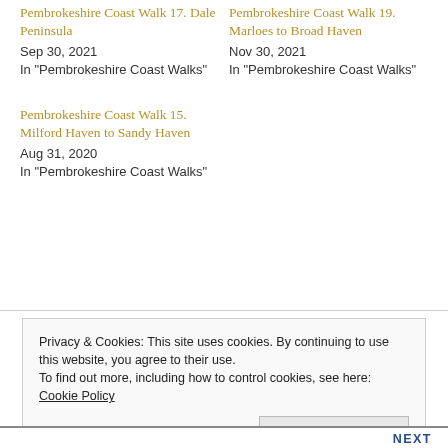Pembrokeshire Coast Walk 17. Dale Peninsula
Sep 30, 2021
In "Pembrokeshire Coast Walks"
Pembrokeshire Coast Walk 19. Marloes to Broad Haven
Nov 30, 2021
In "Pembrokeshire Coast Walks"
Pembrokeshire Coast Walk 15. Milford Haven to Sandy Haven
Aug 31, 2020
In "Pembrokeshire Coast Walks"
Privacy & Cookies: This site uses cookies. By continuing to use this website, you agree to their use.
To find out more, including how to control cookies, see here: Cookie Policy
Close and accept
NEXT